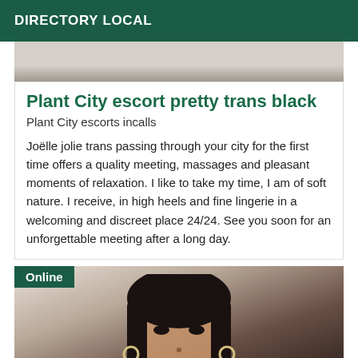DIRECTORY LOCAL
[Figure (photo): Top portion of a person photo, cropped, showing dark background and partial figure]
Plant City escort pretty trans black
Plant City escorts incalls
Joëlle jolie trans passing through your city for the first time offers a quality meeting, massages and pleasant moments of relaxation. I like to take my time, I am of soft nature. I receive, in high heels and fine lingerie in a welcoming and discreet place 24/24. See you soon for an unforgettable meeting after a long day.
[Figure (photo): Photo of a woman with long dark hair, making a kissing face, wearing hoop earrings. Online badge in top-left corner.]